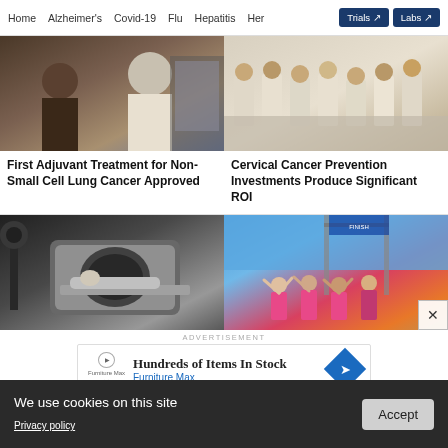Home  Alzheimer's  Covid-19  Flu  Hepatitis  Her  Trials  Labs
[Figure (photo): Doctor speaking with a patient in a medical setting]
First Adjuvant Treatment for Non-Small Cell Lung Cancer Approved
[Figure (photo): Group of students or people in white shirts seated in rows]
Cervical Cancer Prevention Investments Produce Significant ROI
[Figure (photo): Patient lying in a CT scanner machine in a hospital room]
[Figure (photo): Women in pink shirts celebrating at a race finish line]
ADVERTISEMENT
Hundreds of Items In Stock
Furniture Max
We use cookies on this site
Privacy policy